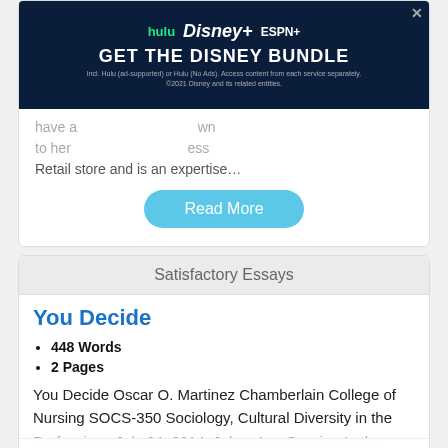[Figure (screenshot): Disney Bundle advertisement banner with Hulu, Disney+, ESPN+ logos and 'GET THE DISNEY BUNDLE' call to action]
have a... wn to her... ess Retail store and is an expertise...
Read More
Satisfactory Essays
You Decide
448 Words
2 Pages
You Decide Oscar O. Martinez Chamberlain College of Nursing SOCS-350 Sociology, Cultural Diversity in the Professions July 24, 2014, July – Aug Session In the scenario... someone fill a position... find myself gauging each candidate for the qualities which suit the company's needs. The job
CONSUMERS POWER REBATES